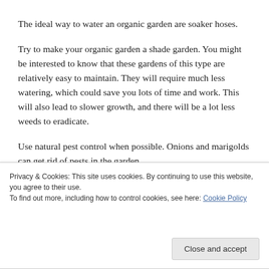The ideal way to water an organic garden are soaker hoses.
Try to make your organic garden a shade garden. You might be interested to know that these gardens of this type are relatively easy to maintain. They will require much less watering, which could save you lots of time and work. This will also lead to slower growth, and there will be a lot less weeds to eradicate.
Use natural pest control when possible. Onions and marigolds can get rid of pests in the garden
Privacy & Cookies: This site uses cookies. By continuing to use this website, you agree to their use.
To find out more, including how to control cookies, see here: Cookie Policy
dangerous, chemicals